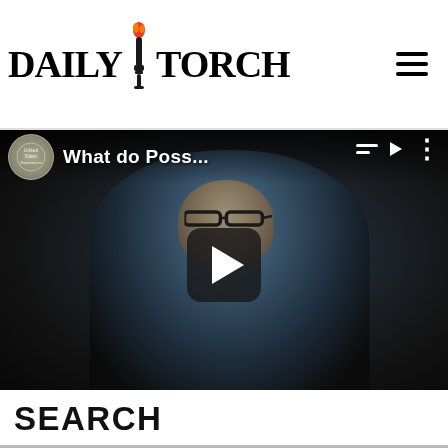DAILY TORCH
[Figure (screenshot): Video thumbnail showing a man in glasses and light blue shirt in a dark setting. Video title partially visible: 'What do Poss...' A play button overlay is shown in the center. Channel badge (government seal) visible top left.]
SEARCH